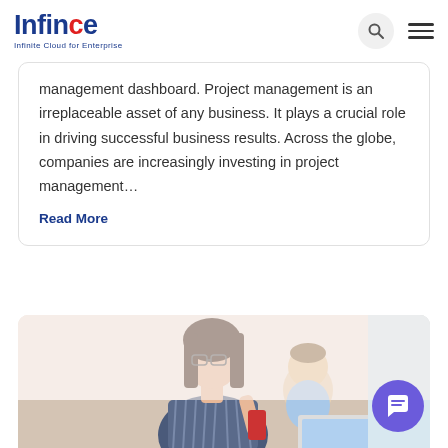[Figure (logo): Infince logo — Infinite Cloud for Enterprise — with blue and red lettering]
management dashboard. Project management is an irreplaceable asset of any business. It plays a crucial role in driving successful business results. Across the globe, companies are increasingly investing in project management…
Read More
[Figure (photo): A woman with glasses holding a baby, both looking at a laptop, seated on a sofa]